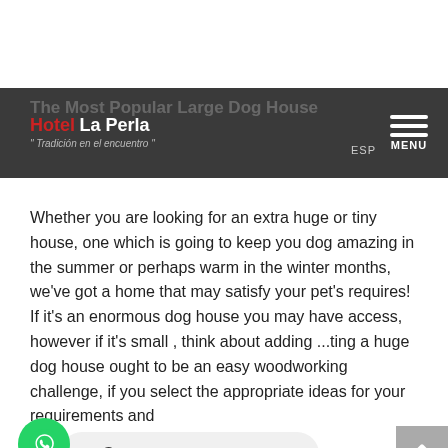The Most Popular Large Dog House
[Figure (logo): Hotel La Perla logo with tagline 'Tradición en el encuentro']
Whether you are looking for an extra huge or tiny house, one which is going to keep you dog amazing in the summer or perhaps warm in the winter months, we've got a home that may satisfy your pet's requires! If it's an enormous dog house you may have access, however if it's small , think about adding ...ting a huge dog house ought to be an easy woodworking challenge, if you select the appropriate ideas for your requirements and